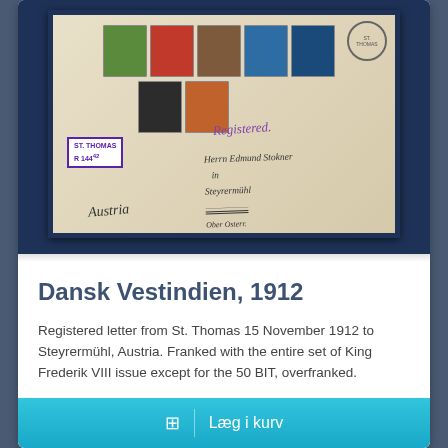[Figure (photo): Photograph of a registered envelope from St. Thomas 1912 with multiple Danish West Indies King Frederik VIII stamps in green, red, brown, blue, and dark blue, addressed to Steyrermühl, Austria, with registration label 'ST. THOMAS R 14442' and cursive 'Registered' handstamp.]
Dansk Vestindien, 1912
Registered letter from St. Thomas 15 November 1912 to Steyrermühl, Austria. Franked with the entire set of King Frederik VIII issue except for the 50 BIT, overfranked.
DKK 1.490,00
Læg i kurv